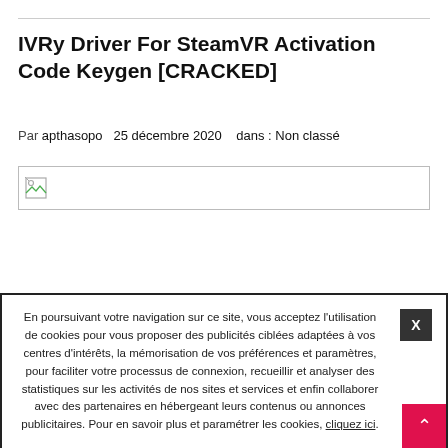IVRy Driver For SteamVR Activation Code Keygen [CRACKED]
Par apthasopo   25 décembre 2020   dans : Non classé
[Figure (other): Broken image placeholder with small icon in top-left]
En poursuivant votre navigation sur ce site, vous acceptez l'utilisation de cookies pour vous proposer des publicités ciblées adaptées à vos centres d'intérêts, la mémorisation de vos préférences et paramètres, pour faciliter votre processus de connexion, recueillir et analyser des statistiques sur les activités de nos sites et services et enfin collaborer avec des partenaires en hébergeant leurs contenus ou annonces publicitaires. Pour en savoir plus et paramétrer les cookies, cliquez ici.